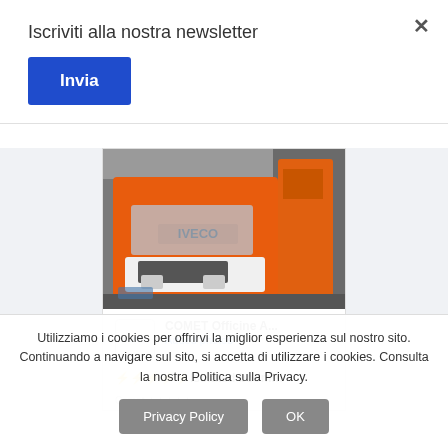Iscriviti alla nostra newsletter
Invia
[Figure (screenshot): Screenshot of a Facebook post by COMET Officine A... showing an orange IVECO truck. Post includes COMET logo, text 'Added photos', and '⚡⚡⚡⚡⚡Isolated boom!!!']
Utilizziamo i cookies per offrirvi la miglior esperienza sul nostro sito. Continuando a navigare sul sito, si accetta di utilizzare i cookies. Consulta la nostra Politica sulla Privacy.
Privacy Policy
OK